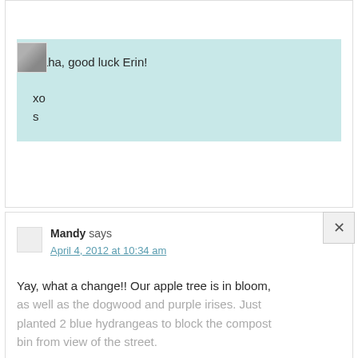[Figure (photo): Small avatar photo thumbnail in top-left of first comment block]
Haha, good luck Erin!

xo
s
Mandy says
April 4, 2012 at 10:34 am
Yay, what a change!! Our apple tree is in bloom, as well as the dogwood and purple irises. Just planted 2 blue hydrangeas to block the compost bin from view of the street.